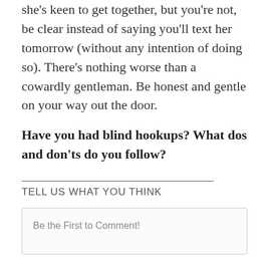she's keen to get together, but you're not, be clear instead of saying you'll text her tomorrow (without any intention of doing so). There's nothing worse than a cowardly gentleman. Be honest and gentle on your way out the door.
Have you had blind hookups? What dos and don'ts do you follow?
TELL US WHAT YOU THINK
Be the First to Comment!